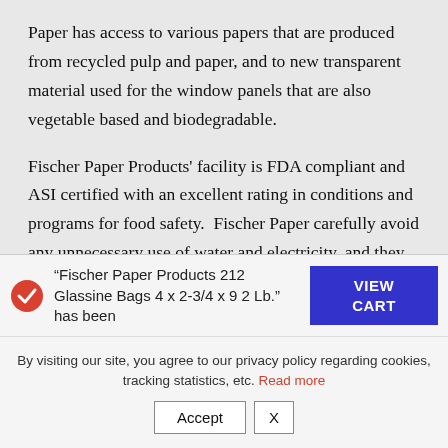Paper has access to various papers that are produced from recycled pulp and paper, and to new transparent material used for the window panels that are also vegetable based and biodegradable.
Fischer Paper Products' facility is FDA compliant and ASI certified with an excellent rating in conditions and programs for food safety.  Fischer Paper carefully avoid any unnecessary use of water and electricity, and they recycle 99% of their paper waste.  Fischer Paper Products, Inc. is committed to conserving and improving our environment.  Every positive action is [cut off]
“Fischer Paper Products 212 Glassine Bags 4 x 2-3/4 x 9 2 Lb.” has been
[Figure (other): Blue VIEW CART button]
By visiting our site, you agree to our privacy policy regarding cookies, tracking statistics, etc. Read more
Accept  X